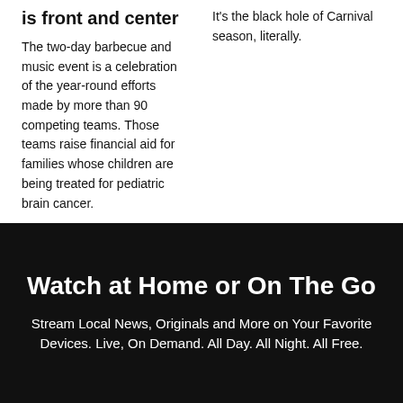is front and center
The two-day barbecue and music event is a celebration of the year-round efforts made by more than 90 competing teams. Those teams raise financial aid for families whose children are being treated for pediatric brain cancer.
It's the black hole of Carnival season, literally.
Watch at Home or On The Go
Stream Local News, Originals and More on Your Favorite Devices. Live, On Demand. All Day. All Night. All Free.